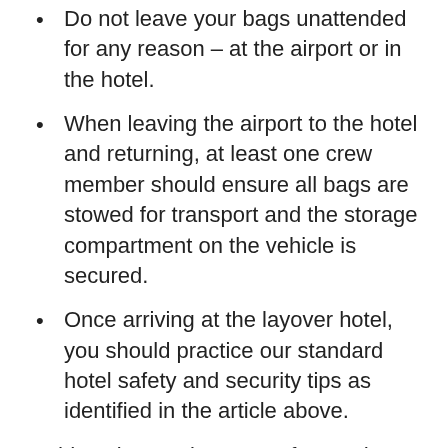Do not leave your bags unattended for any reason – at the airport or in the hotel.
When leaving the airport to the hotel and returning, at least one crew member should ensure all bags are stowed for transport and the storage compartment on the vehicle is secured.
Once arriving at the layover hotel, you should practice our standard hotel safety and security tips as identified in the article above.
Addressing our layover safety and security is the number one priority for our United MEC Hotel and Transportation Committee. If you experience an incident that compromises your